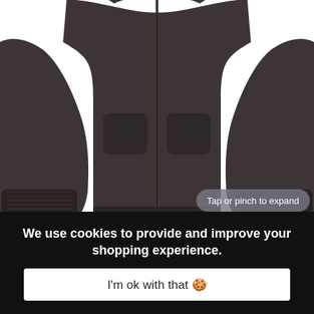[Figure (photo): Dark charcoal/grey zip-up hoodie sweatshirt shown from the front, with ribbed cuffs and hem, zip closure down the center, and two front pockets. The image is cropped showing mainly the torso and arms. A tooltip overlay reads 'Tap or pinch to expand'.]
[Figure (photo): Row of five small thumbnail images of the same hoodie in different colors: light grey, dark grey, white/light, medium grey, and pink.]
We use cookies to provide and improve your shopping experience.
I'm ok with that 🍪